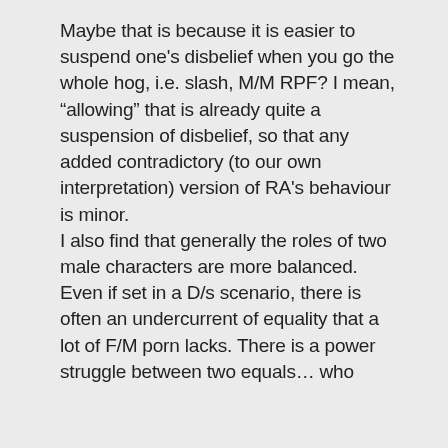Maybe that is because it is easier to suspend one’s disbelief when you go the whole hog, i.e. slash, M/M RPF? I mean, “allowing” that is already quite a suspension of disbelief, so that any added contradictory (to our own interpretation) version of RA’s behaviour is minor. I also find that generally the roles of two male characters are more balanced. Even if set in a D/s scenario, there is often an undercurrent of equality that a lot of F/M porn lacks. There is a power struggle between two equals… who